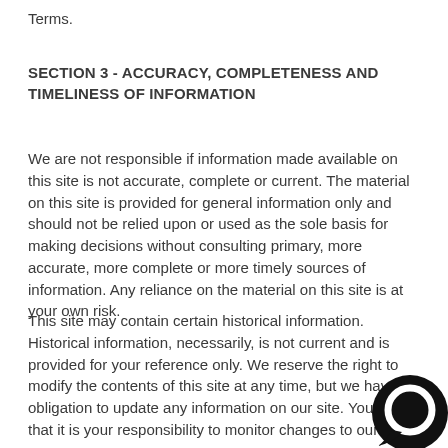Terms.
SECTION 3 - ACCURACY, COMPLETENESS AND TIMELINESS OF INFORMATION
We are not responsible if information made available on this site is not accurate, complete or current. The material on this site is provided for general information only and should not be relied upon or used as the sole basis for making decisions without consulting primary, more accurate, more complete or more timely sources of information. Any reliance on the material on this site is at your own risk.
This site may contain certain historical information. Historical information, necessarily, is not current and is provided for your reference only. We reserve the right to modify the contents of this site at any time, but we have no obligation to update any information on our site. You agree that it is your responsibility to monitor changes to our site.